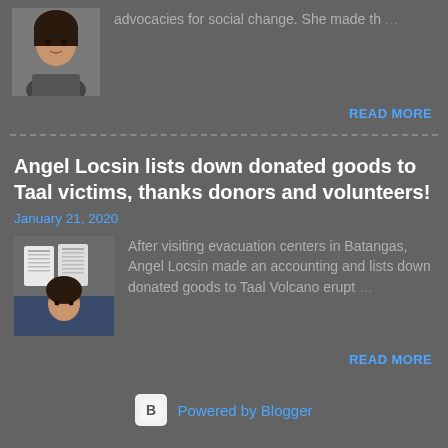[Figure (photo): Thumbnail photo of a woman]
advocacies for social change. She made th…
READ MORE
Angel Locsin lists down donated goods to Taal victims, thanks donors and volunteers!
January 21, 2020
[Figure (photo): Thumbnail image of Angel Locsin holding list papers]
After visiting evacuation centers in Batangas, Angel Locsin made an accounting and lists down donated goods to Taal Volcano erupt…
READ MORE
Powered by Blogger